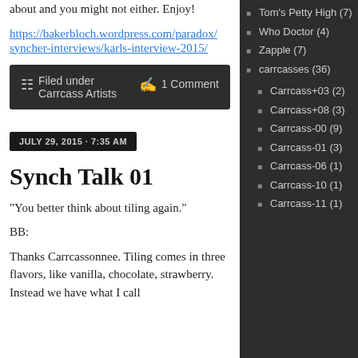about and you might not either. Enjoy!
https://bakerbloch.wordpress.com/paradox/syncher-interviews/karls-interview-2015/
Filed under Carrcass Artists  1 Comment
JULY 29, 2015 · 7:35 AM
Synch Talk 01
“You better think about tiling again.”
BB:
Thanks Carrcassonnee. Tiling comes in three flavors, like vanilla, chocolate, strawberry. Instead we have what I call
Tom’s Petty High (7)
Who Doctor (4)
Zapple (7)
carrcasses (36)
Carrcass+03 (2)
Carrcass+08 (3)
Carrcass-00 (9)
Carrcass-01 (3)
Carrcass-06 (1)
Carrcass-10 (1)
Carrcass-11 (1)